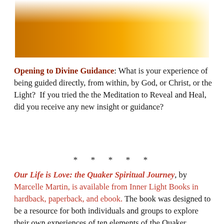[Figure (illustration): Gradient rectangle fading from dark orange/amber on the left to bright golden yellow and then white on the right]
Opening to Divine Guidance: What is your experience of being guided directly, from within, by God, or Christ, or the Light?  If you tried the the Meditation to Reveal and Heal, did you receive any new insight or guidance?
* * * * *
Our Life is Love: the Quaker Spiritual Journey, by Marcelle Martin, is available from Inner Light Books in hardback, paperback, and ebook. The book was designed to be a resource for both individuals and groups to explore their own experiences of ten elements of the Quaker